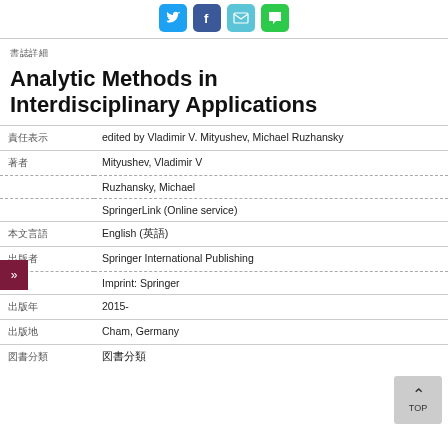[Figure (other): Social share icons: Twitter (blue bird), Facebook (blue f), Email (teal envelope), Message (green chat)]
書誌詳細
Analytic Methods in Interdisciplinary Applications
| 責任表示 | edited by Vladimir V. Mityushev, Michael Ruzhansky |
| 著者 | Mityushev, Vladimir V |
|  | Ruzhansky, Michael |
|  | SpringerLink (Online service) |
| 本文言語 | English (英語) |
| 出版者 | Springer International Publishing |
|  | Imprint: Springer |
| 出版年 | 2015- |
| 出版地 | Cham, Germany |
| 分類 | 図書分類 |